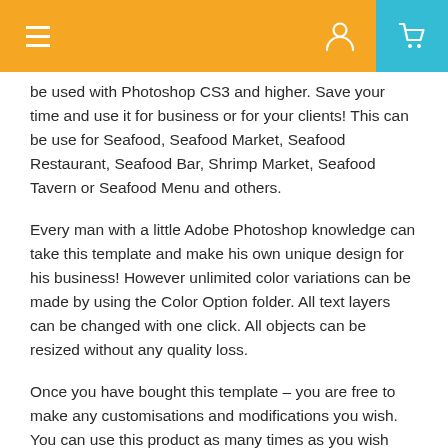Navigation bar with menu, user, and cart icons
be used with Photoshop CS3 and higher. Save your time and use it for business or for your clients! This can be use for Seafood, Seafood Market, Seafood Restaurant, Seafood Bar, Shrimp Market, Seafood Tavern or Seafood Menu and others.
Every man with a little Adobe Photoshop knowledge can take this template and make his own unique design for his business! However unlimited color variations can be made by using the Color Option folder. All text layers can be changed with one click. All objects can be resized without any quality loss.
Once you have bought this template – you are free to make any customisations and modifications you wish. You can use this product as many times as you wish and as many clients as you wish.
Aslo, please, remember that all images and stock photos use only for demonstration purposes and are not included in the final download, but you can use your own images or stock photos!